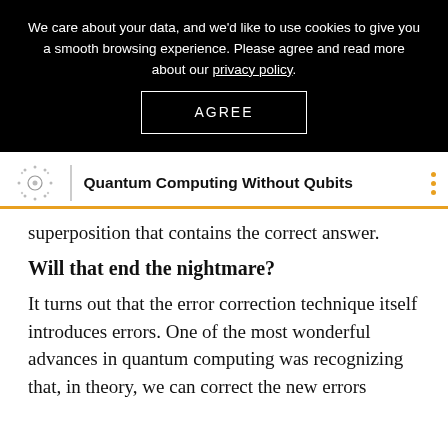We care about your data, and we'd like to use cookies to give you a smooth browsing experience. Please agree and read more about our privacy policy.
AGREE
Quantum Computing Without Qubits
superposition that contains the correct answer.
Will that end the nightmare?
It turns out that the error correction technique itself introduces errors. One of the most wonderful advances in quantum computing was recognizing that, in theory, we can correct the new errors